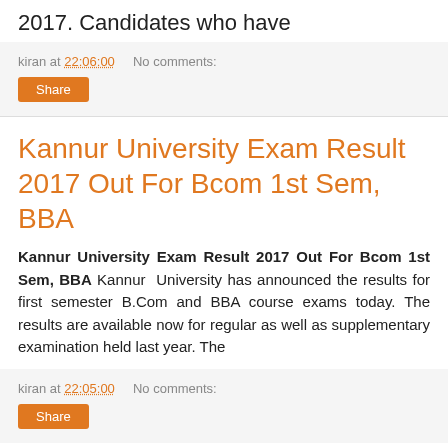2017. Candidates who have
kiran at 22:06:00   No comments:
Share
Kannur University Exam Result 2017 Out For Bcom 1st Sem, BBA
Kannur University Exam Result 2017 Out For Bcom 1st Sem, BBA
Kannur University has announced the results for first semester B.Com and BBA course exams today. The results are available now for regular as well as supplementary examination held last year. The
kiran at 22:05:00   No comments:
Share